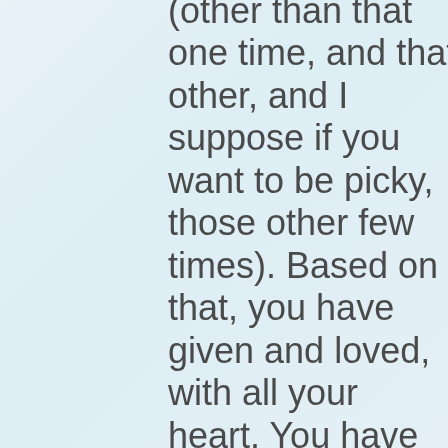(other than that one time, and that other, and I suppose if you want to be picky, those other few times). Based on that, you have given and loved, with all your heart. You have admired and praised and felt entirely surrounded by people who are